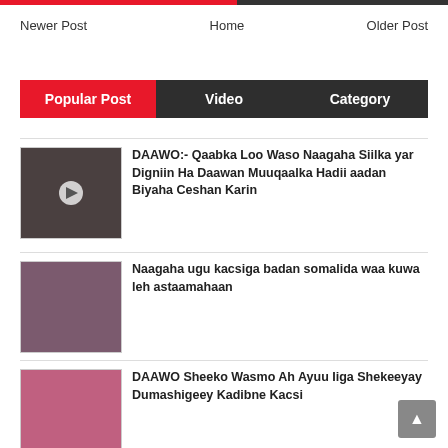Newer Post   Home   Older Post
Popular Post | Video | Category
[Figure (photo): Thumbnail image of a woman wearing a dark hijab]
DAAWO:- Qaabka Loo Waso Naagaha Siilka yar Digniin Ha Daawan Muuqaalka Hadii aadan Biyaha Ceshan Karin
[Figure (photo): Thumbnail image of a woman in a purple dress]
Naagaha ugu kacsiga badan somalida waa kuwa leh astaamahaan
[Figure (photo): Thumbnail image of a woman wearing a pink hijab]
DAAWO Sheeko Wasmo Ah Ayuu Iiga Shekeeyay Dumashigeey Kadibne Kacsi